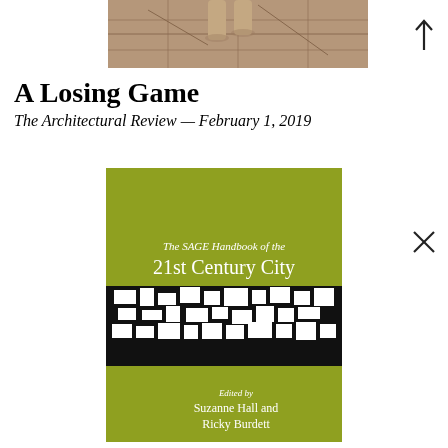[Figure (photo): Top portion of a photo showing feet on a cracked stone or tile floor]
A Losing Game
The Architectural Review — February 1, 2019
[Figure (photo): Book cover of 'The SAGE Handbook of the 21st Century City', olive/yellow-green cover with a black and white urban map pattern band, edited by Suzanne Hall and Ricky Burdett]